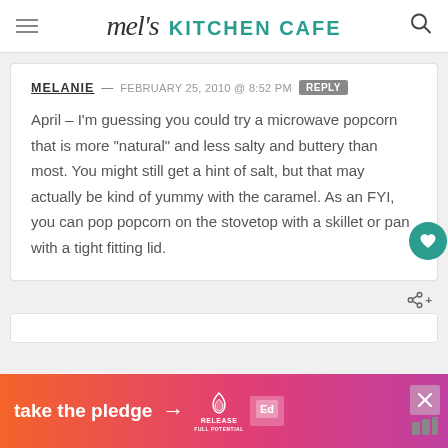mel's KITCHEN CAFE
MELANIE — FEBRUARY 25, 2010 @ 8:52 PM REPLY
April – I'm guessing you could try a microwave popcorn that is more "natural" and less salty and buttery than most. You might still get a hint of salt, but that may actually be kind of yummy with the caramel. As an FYI, you can pop popcorn on the stovetop with a skillet or pan with a tight fitting lid.
[Figure (infographic): Take the pledge ad banner with orange-to-pink gradient, arrow, Release logo, and close button]